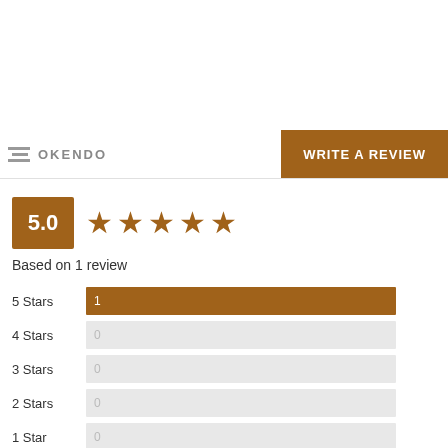[Figure (logo): Okendo logo with horizontal lines icon and text OKENDO]
WRITE A REVIEW
[Figure (infographic): 5.0 star rating box with 5 filled brown stars]
Based on 1 review
[Figure (bar-chart): Star rating breakdown]
100% of reviewers would recommend this product to a